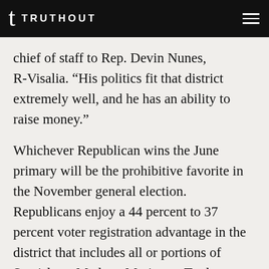TRUTHOUT
chief of staff to Rep. Devin Nunes, R-Visalia. “His politics fit that district extremely well, and he has an ability to raise money.”
Whichever Republican wins the June primary will be the prohibitive favorite in the November general election. Republicans enjoy a 44 percent to 37 percent voter registration advantage in the district that includes all or portions of Stanislaus, Madera, Mariposa, Tuolumne and Fresno counties.